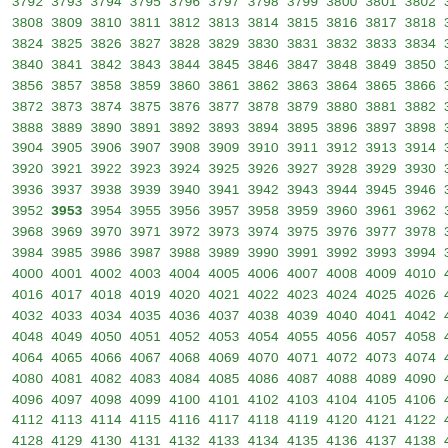Sequential number list from approximately 3792 to 4155, displayed in green, with 3953 shown in bold.